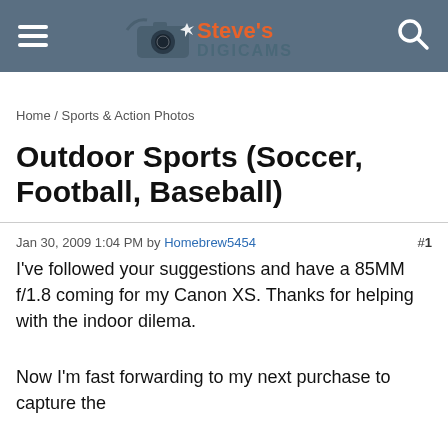Steve's Digicams
Home / Sports & Action Photos
Outdoor Sports (Soccer, Football, Baseball)
Jan 30, 2009 1:04 PM by Homebrew5454  #1
I've followed your suggestions and have a 85MM f/1.8 coming for my Canon XS. Thanks for helping with the indoor dilema.
Now I'm fast forwarding to my next purchase to capture the